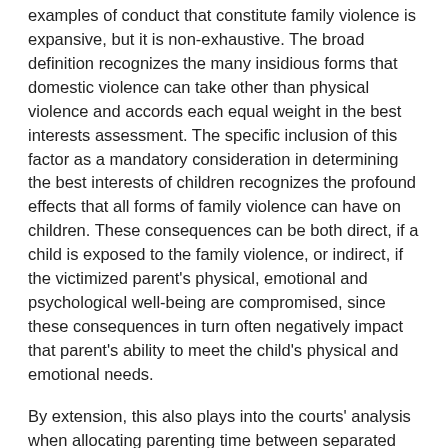examples of conduct that constitute family violence is expansive, but it is non-exhaustive. The broad definition recognizes the many insidious forms that domestic violence can take other than physical violence and accords each equal weight in the best interests assessment. The specific inclusion of this factor as a mandatory consideration in determining the best interests of children recognizes the profound effects that all forms of family violence can have on children. These consequences can be both direct, if a child is exposed to the family violence, or indirect, if the victimized parent's physical, emotional and psychological well-being are compromised, since these consequences in turn often negatively impact that parent's ability to meet the child's physical and emotional needs.
By extension, this also plays into the courts' analysis when allocating parenting time between separated and divorce parents, and when resolving disputes around things like parental decision-making authority and mobility.
But that’s not all. “Family violence” can also give rise to a